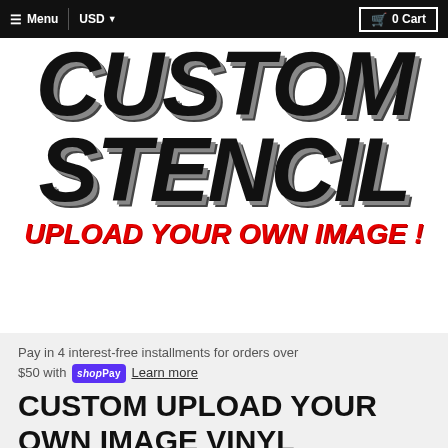Menu | USD ▼  🛒 0 Cart
[Figure (logo): Custom Stencil logo with large bold italic black text 'CUSTOM STENCIL' and red italic bold text 'UPLOAD YOUR OWN IMAGE !']
Pay in 4 interest-free installments for orders over $50 with shopPay Learn more
CUSTOM UPLOAD YOUR OWN IMAGE VINYL